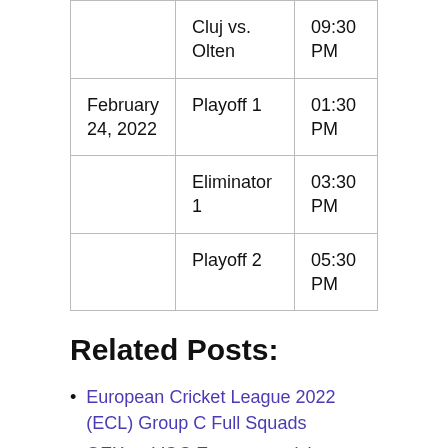|  |  |  |
| --- | --- | --- |
|  | Cluj vs. Olten | 09:30 PM |
| February 24, 2022 | Playoff 1 | 01:30 PM |
|  | Eliminator 1 | 03:30 PM |
|  | Playoff 2 | 05:30 PM |
Related Posts:
European Cricket League 2022 (ECL) Group C Full Squads
OEX vs VOC European cricket league,